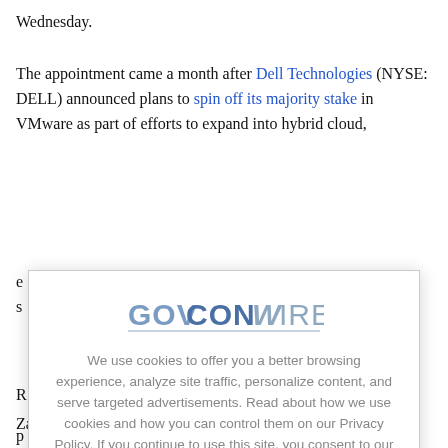Wednesday.
The appointment came a month after Dell Technologies (NYSE: DELL) announced plans to spin off its majority stake in VMware as part of efforts to expand into hybrid cloud, e[obscured] s[obscured]
[Figure (logo): GovConWire logo — GOVCON in blue/gray, WIRE in gray with W stylized]
We use cookies to offer you a better browsing experience, analyze site traffic, personalize content, and serve targeted advertisements. Read about how we use cookies and how you can control them on our Privacy Policy. If you continue to use this site, you consent to our use of cookies.
X
R[obscured] p[obscured] c[obscured] h[obscured] a[obscured] s[obscured] t[obscured] d[obscured]
Zane Rowe, interim CEO and chief financial officer of